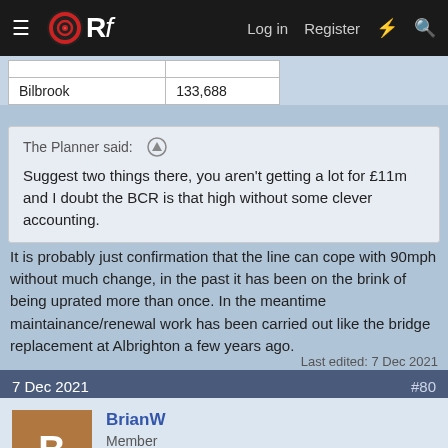ORf — Log in  Register
| Bilbrook | 133,688 |
The Planner said: ↑
Suggest two things there, you aren't getting a lot for £11m and I doubt the BCR is that high without some clever accounting.
It is probably just confirmation that the line can cope with 90mph without much change, in the past it has been on the brink of being uprated more than once. In the meantime maintainance/renewal work has been carried out like the bridge replacement at Albrighton a few years ago.
Last edited: 7 Dec 2021
7 Dec 2021  #80
BrianW
Member